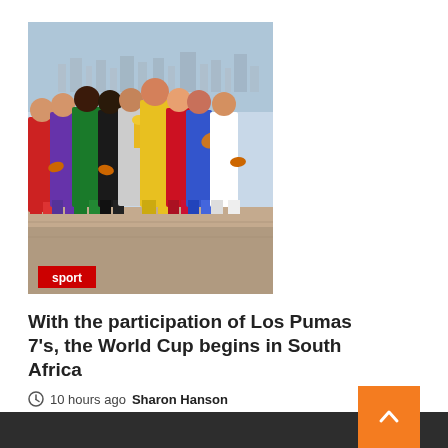[Figure (photo): Group of rugby players in colorful team jerseys holding rugby balls, posed on a rooftop with a city skyline in the background, sunny day.]
sport
With the participation of Los Pumas 7's, the World Cup begins in South Africa
10 hours ago  Sharon Hanson